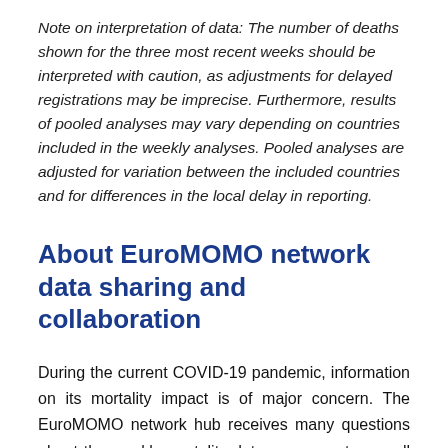Note on interpretation of data: The number of deaths shown for the three most recent weeks should be interpreted with caution, as adjustments for delayed registrations may be imprecise. Furthermore, results of pooled analyses may vary depending on countries included in the weekly analyses. Pooled analyses are adjusted for variation between the included countries and for differences in the local delay in reporting.
About EuroMOMO network data sharing and collaboration
During the current COVID-19 pandemic, information on its mortality impact is of major concern. The EuroMOMO network hub receives many questions about the weekly mortality data we present, as well as requests to share the underlying national data. While the network fully